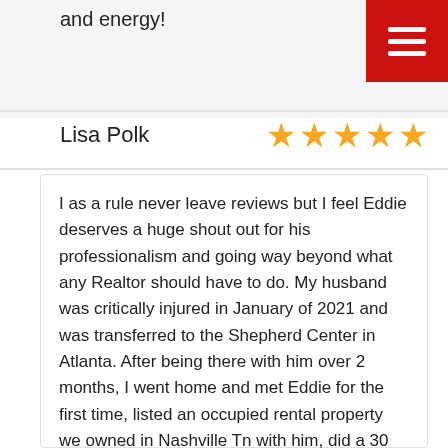and energy!
Lisa Polk ★★★★★
I as a rule never leave reviews but I feel Eddie deserves a huge shout out for his professionalism and going way beyond what any Realtor should have to do. My husband was critically injured in January of 2021 and was transferred to the Shepherd Center in Atlanta. After being there with him over 2 months, I went home and met Eddie for the first time, listed an occupied rental property we owned in Nashville Tn with him, did a 30 second introduction with the tenant (who didn't know our situation and that we were going to sell),